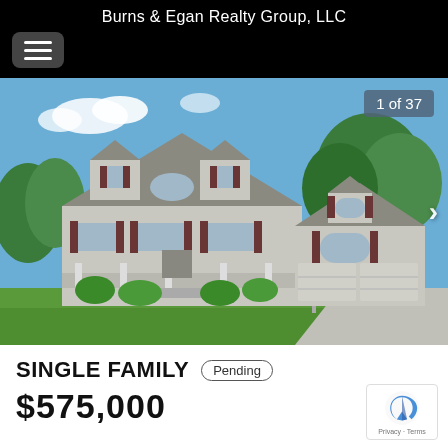Burns & Egan Realty Group, LLC
[Figure (photo): Exterior photo of a large two-story colonial-style single family home with gray siding, dark shutters, a covered front porch, two dormers, and an attached two-car garage. Lush green trees and lawn visible. Photo counter badge shows '1 of 37'.]
SINGLE FAMILY   Pending
$575,000 (partial, cut off)